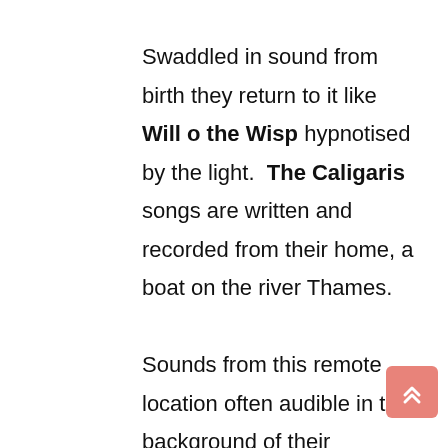Swaddled in sound from birth they return to it like Will o the Wisp hypnotised by the light.  The Caligaris songs are written and recorded from their home, a boat on the river Thames.

Sounds from this remote location often audible in the background of their recordings transport you directly to them. Although both classically trained they submit to their infatuation with simplicity.  As they continue this